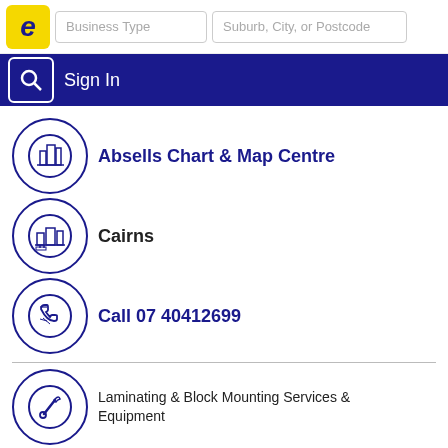[Figure (screenshot): Business directory website header with logo, search fields, and navigation bar]
Absells Chart & Map Centre
Cairns
Call 07 40412699
Laminating & Block Mounting Services & Equipment
1 Spence St, Cairns - Queensland 4870
absells@iig.com.au